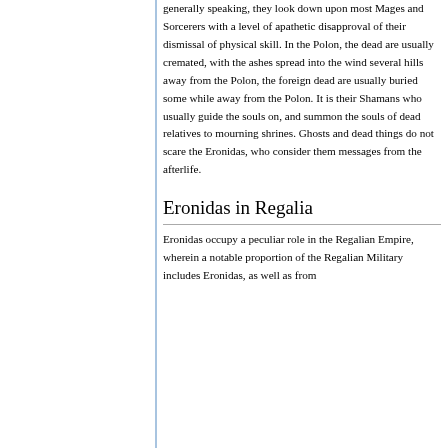generally speaking, they look down upon most Mages and Sorcerers with a level of apathetic disapproval of their dismissal of physical skill. In the Polon, the dead are usually cremated, with the ashes spread into the wind several hills away from the Polon, the foreign dead are usually buried some while away from the Polon. It is their Shamans who usually guide the souls on, and summon the souls of dead relatives to mourning shrines. Ghosts and dead things do not scare the Eronidas, who consider them messages from the afterlife.
Eronidas in Regalia
Eronidas occupy a peculiar role in the Regalian Empire, wherein a notable proportion of the Regalian Military includes Eronidas, as well as from